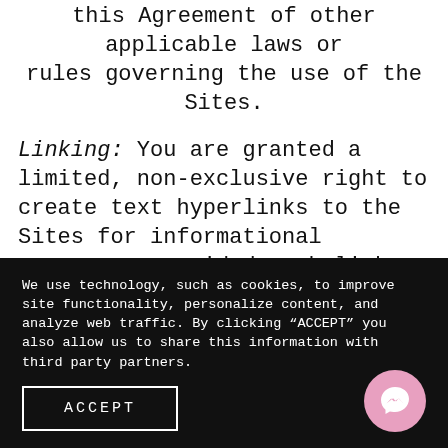this Agreement of other applicable laws or rules governing the use of the Sites.
Linking: You are granted a limited, non-exclusive right to create text hyperlinks to the Sites for informational purposes, provided such links do not portray us in a false, misleading, derogatory or otherwise defamatory manner and provided that the linking Site does not contain any material that unlawful, harmful, harassing, defamatory,
We use technology, such as cookies, to improve site functionality, personalize content, and analyze web traffic. By clicking “ACCEPT” you also allow us to share this information with third party partners.
ACCEPT
[Figure (illustration): Pink circular Messenger chat button icon]